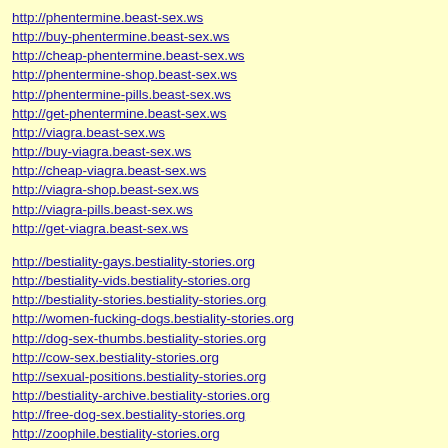http://phentermine.beast-sex.ws
http://buy-phentermine.beast-sex.ws
http://cheap-phentermine.beast-sex.ws
http://phentermine-shop.beast-sex.ws
http://phentermine-pills.beast-sex.ws
http://get-phentermine.beast-sex.ws
http://viagra.beast-sex.ws
http://buy-viagra.beast-sex.ws
http://cheap-viagra.beast-sex.ws
http://viagra-shop.beast-sex.ws
http://viagra-pills.beast-sex.ws
http://get-viagra.beast-sex.ws
http://bestiality-gays.bestiality-stories.org
http://bestiality-vids.bestiality-stories.org
http://bestiality-stories.bestiality-stories.org
http://women-fucking-dogs.bestiality-stories.org
http://dog-sex-thumbs.bestiality-stories.org
http://cow-sex.bestiality-stories.org
http://sexual-positions.bestiality-stories.org
http://bestiality-archive.bestiality-stories.org
http://free-dog-sex.bestiality-stories.org
http://zoophile.bestiality-stories.org
http://horse-cock.bestiality-stories.org
http://dogsex.bestiality-stories.org
http://bestiality.bestiality-stories.org
http://zoophilia.bestiality-stories.org
http://animal-fucking.bestiality-stories.org
http://animal98.bestiality-stories.org